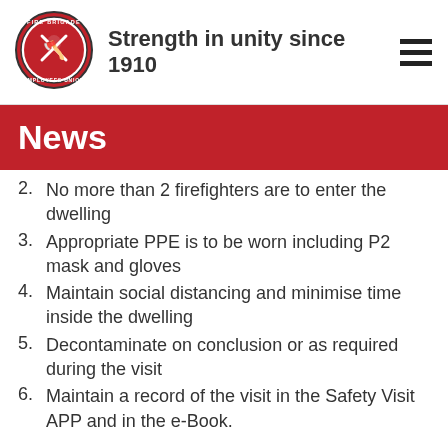Strength in unity since 1910
News
2. No more than 2 firefighters are to enter the dwelling
3. Appropriate PPE is to be worn including P2 mask and gloves
4. Maintain social distancing and minimise time inside the dwelling
5. Decontaminate on conclusion or as required during the visit
6. Maintain a record of the visit in the Safety Visit APP and in the e-Book.
Members are also not to conduct the visit unless the